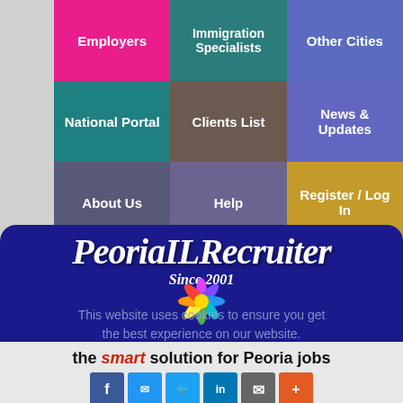[Figure (screenshot): Navigation menu grid with 9 cells in 3 columns by 3 rows: Employers (pink), Immigration Specialists (dark teal), Other Cities (purple/blue), National Portal (teal), Clients List (mauve/brown), News & Updates (indigo), About Us (slate purple), Help (medium purple), Register / Log In (gold)]
PeoriaILRecruiter
Since 2001
This website uses cookies to ensure you get the best experience on our website.
the smart solution for Peoria jobs
[Figure (infographic): Social sharing buttons: Facebook, Messenger, Twitter, LinkedIn, Email, Plus]